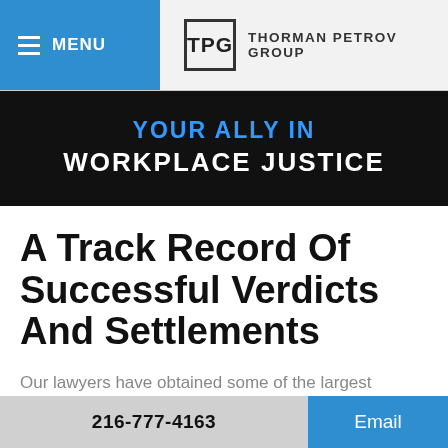MENU | TPG THORMAN PETROV GROUP
YOUR ALLY IN WORKPLACE JUSTICE
A Track Record Of Successful Verdicts And Settlements
Our lawyers have obtained some of the largest verdicts and judgments on behalf of
216-777-4163  Email